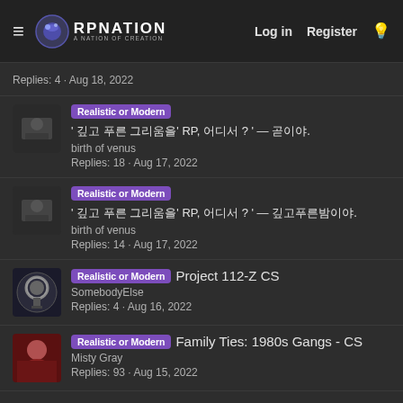RPNation — Log in | Register
Replies: 4 · Aug 18, 2022
Realistic or Modern ' 깊고 푸른 그리움을' RP, 어디서 ? ' — 곧이야.  birth of venus  Replies: 18 · Aug 17, 2022
Realistic or Modern ' 깊고 푸른 그리움을' RP, 어디서 ? ' — 깊고푸른밤이야.  birth of venus  Replies: 14 · Aug 17, 2022
Realistic or Modern Project 112-Z CS  SomebodyElse  Replies: 4 · Aug 16, 2022
Realistic or Modern Family Ties: 1980s Gangs - CS  Misty Gray  Replies: 93 · Aug 15, 2022